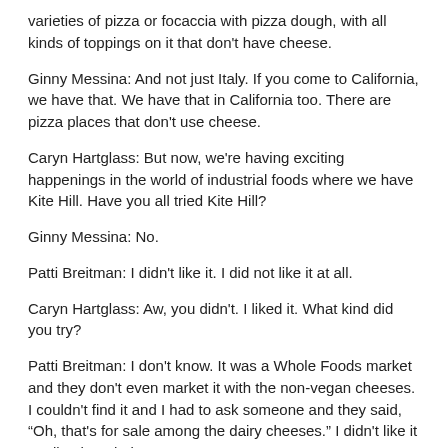varieties of pizza or focaccia with pizza dough, with all kinds of toppings on it that don't have cheese.
Ginny Messina: And not just Italy. If you come to California, we have that. We have that in California too. There are pizza places that don't use cheese.
Caryn Hartglass: But now, we're having exciting happenings in the world of industrial foods where we have Kite Hill. Have you all tried Kite Hill?
Ginny Messina: No.
Patti Breitman: I didn't like it. I did not like it at all.
Caryn Hartglass: Aw, you didn't. I liked it. What kind did you try?
Patti Breitman: I don't know. It was a Whole Foods market and they don't even market it with the non-vegan cheeses. I couldn't find it and I had to ask someone and they said, "Oh, that's for sale among the dairy cheeses." I didn't like it at all. I thought it was